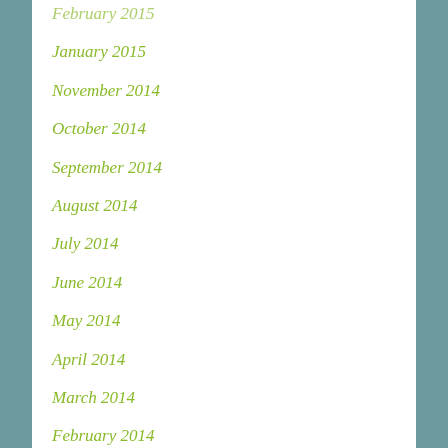February 2015
January 2015
November 2014
October 2014
September 2014
August 2014
July 2014
June 2014
May 2014
April 2014
March 2014
February 2014